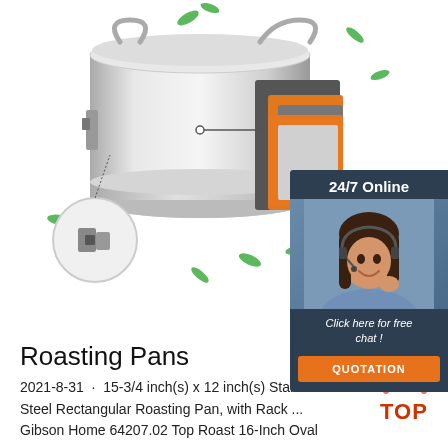[Figure (photo): Stainless steel insulated food container/barrel with orange layered thermal insulation diagram showing cross-section layers, and a close-up circle detail of the latch mechanism. Green leaf decorative elements scattered around. White background.]
[Figure (infographic): Dark blue chat widget with '24/7 Online' header, customer service woman wearing headset, 'Click here for free chat!' text, and orange QUOTATION button.]
Roasting Pans
2021-8-31 · 15-3/4 inch(s) x 12 inch(s) Stainless Steel Rectangular Roasting Pan, with Rack ... Gibson Home 64207.02 Top Roast 16-Inch Oval